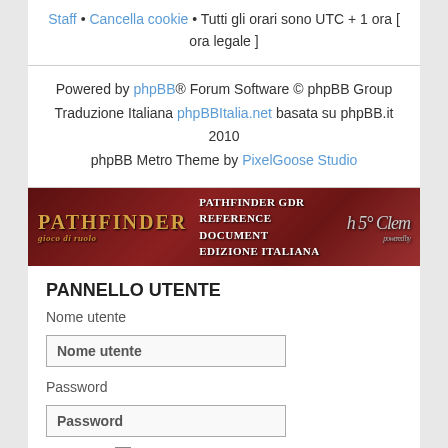Staff • Cancella cookie • Tutti gli orari sono UTC + 1 ora [ ora legale ]
Powered by phpBB® Forum Software © phpBB Group
Traduzione Italiana phpBBItalia.net basata su phpBB.it 2010
phpBB Metro Theme by PixelGoose Studio
[Figure (illustration): Pathfinder GdR banner with logo on dark red background. Text: PATHFINDER GDR, REFERENCE DOCUMENT, EDIZIONE ITALIANA, powered by logo]
PANNELLO UTENTE
Nome utente
Nome utente (input field)
Password
Password (input field)
Ricordami